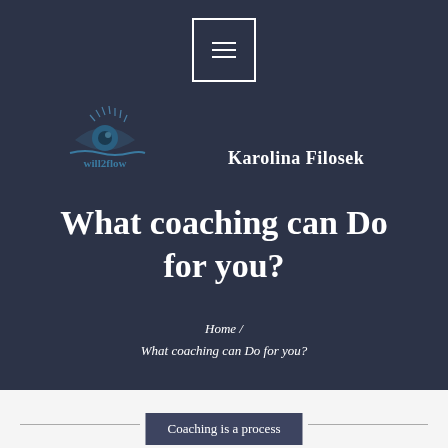[Figure (logo): will2flow eye logo with stylized eye and text 'will2flow' beneath it]
Karolina Filosek
What coaching can Do for you?
Home / What coaching can Do for you?
Coaching is a process